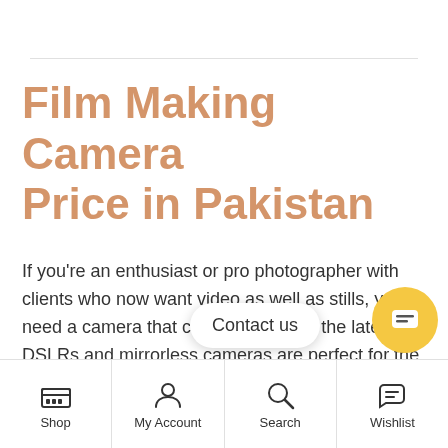Film Making Camera Price in Pakistan
If you're an enthusiast or pro photographer with clients who now want video as well as stills, you'll need a camera that can do both, and the latest pro DSLRs and mirrorless cameras are perfect for the filmmaking cameras are available at Golden Camera Centre's online store for best Film-Making Cameras price in pakistan. Serious videographers, whether they shoot single-handed or as part of a small team, now have
Shop | My Account | Search | Wishlist